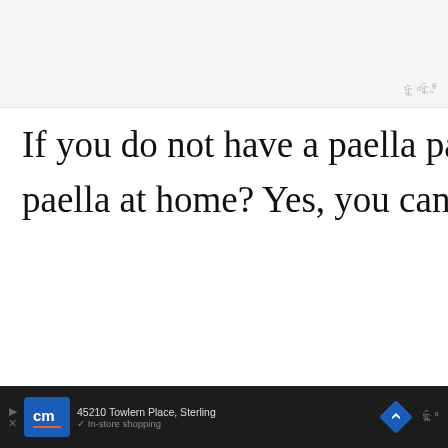[Figure (photo): Light gray placeholder image area at top of page]
If you do not have a paella pan, can you still cook paella at home? Yes, you can.
If you have a shallow yet wide skillet at home, you can use it for cooking paella. You might not be able to achieve same cooking that a paella pan gives.
45210 Towlern Place, Sterling | In-store shopping